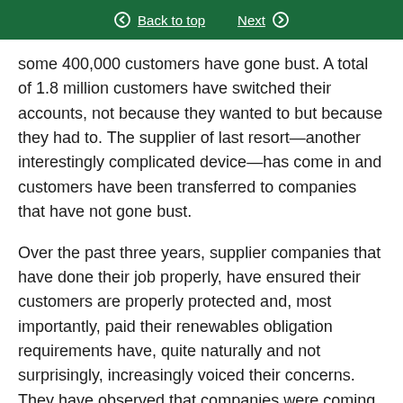Back to top | Next
some 400,000 customers have gone bust. A total of 1.8 million customers have switched their accounts, not because they wanted to but because they had to. The supplier of last resort—another interestingly complicated device—has come in and customers have been transferred to companies that have not gone bust.
Over the past three years, supplier companies that have done their job properly, have ensured their customers are properly protected and, most importantly, paid their renewables obligation requirements have, quite naturally and not surprisingly, increasingly voiced their concerns. They have observed that companies were coming into the market, undercutting those companies that had